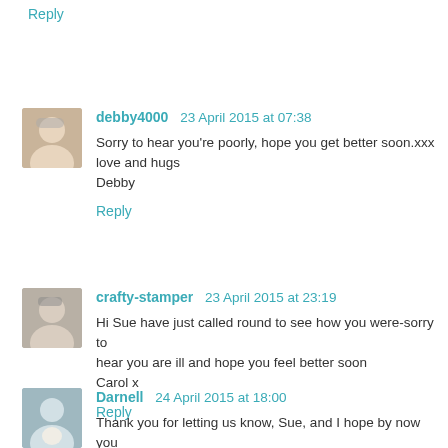Reply
debby4000  23 April 2015 at 07:38
Sorry to hear you're poorly, hope you get better soon.xxx love and hugs
Debby
Reply
crafty-stamper  23 April 2015 at 23:19
Hi Sue have just called round to see how you were-sorry to hear you are ill and hope you feel better soon
Carol x
Reply
Darnell  24 April 2015 at 18:00
Thank you for letting us know, Sue, and I hope by now you are feeling lots better. I know there is one bug going around the world that hangs on for weeks, sadly. You take care!!